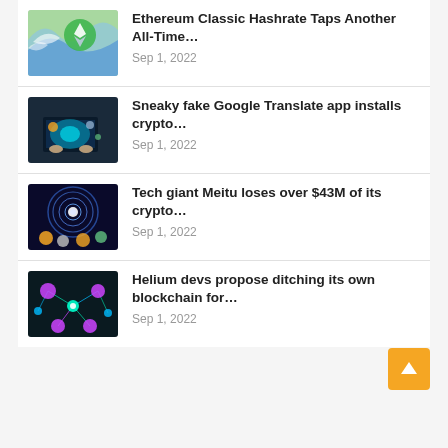[Figure (illustration): Thumbnail image: Ethereum Classic wave illustration with green logo]
Ethereum Classic Hashrate Taps Another All-Time…
Sep 1, 2022
[Figure (photo): Thumbnail image: Person using touchscreen with crypto visuals]
Sneaky fake Google Translate app installs crypto…
Sep 1, 2022
[Figure (illustration): Thumbnail image: Abstract spiral/black hole with crypto coins]
Tech giant Meitu loses over $43M of its crypto…
Sep 1, 2022
[Figure (illustration): Thumbnail image: Network/blockchain abstract illustration with glowing nodes]
Helium devs propose ditching its own blockchain for…
Sep 1, 2022